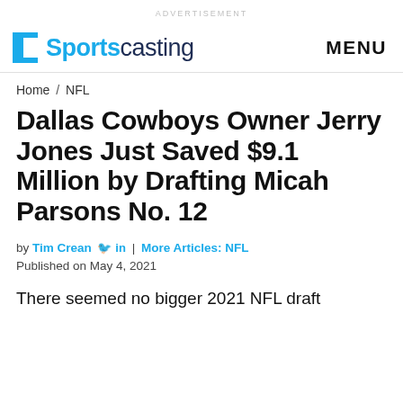ADVERTISEMENT
Sportscasting  MENU
Home / NFL
Dallas Cowboys Owner Jerry Jones Just Saved $9.1 Million by Drafting Micah Parsons No. 12
by Tim Crean in | More Articles: NFL
Published on May 4, 2021
There seemed no bigger 2021 NFL draft